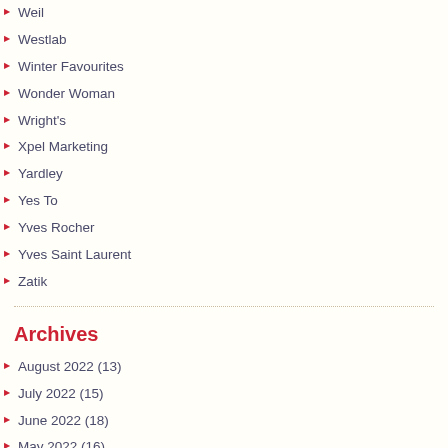Weil
Westlab
Winter Favourites
Wonder Woman
Wright's
Xpel Marketing
Yardley
Yes To
Yves Rocher
Yves Saint Laurent
Zatik
Archives
August 2022 (13)
July 2022 (15)
June 2022 (18)
May 2022 (16)
April 2022 (20)